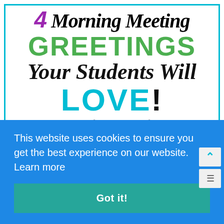4 Morning Meeting GREETINGS Your Students Will LOVE!
[Figure (photo): Partial view of a person's arm visible on the right side of the image]
This website uses cookies to ensure you get the best experience on our website. Learn more
Got it!